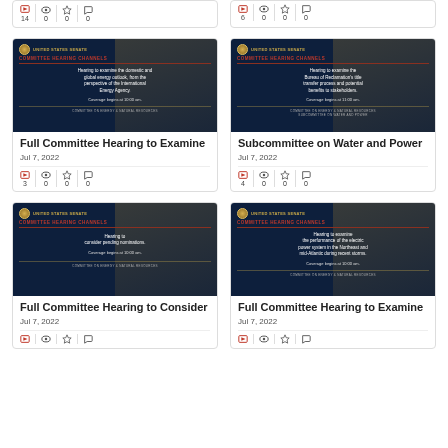[Figure (screenshot): Top partial card left with stats: film icon 14, eye 0, star 0, comment 0]
[Figure (screenshot): Top partial card right with stats: film icon 6, eye 0, star 0, comment 0]
[Figure (screenshot): US Senate Committee Hearing Channels thumbnail - Full Committee Hearing to Examine domestic and global energy outlook]
Full Committee Hearing to Examine
Jul 7, 2022
3 clips, 0 views, 0 favorites, 0 comments
[Figure (screenshot): US Senate Committee Hearing Channels thumbnail - Subcommittee on Water and Power]
Subcommittee on Water and Power
Jul 7, 2022
4 clips, 0 views, 0 favorites, 0 comments
[Figure (screenshot): US Senate Committee Hearing Channels thumbnail - Full Committee Hearing to Consider pending nominations]
Full Committee Hearing to Consider
Jul 7, 2022
[Figure (screenshot): US Senate Committee Hearing Channels thumbnail - Full Committee Hearing to Examine electric power system]
Full Committee Hearing to Examine
Jul 7, 2022